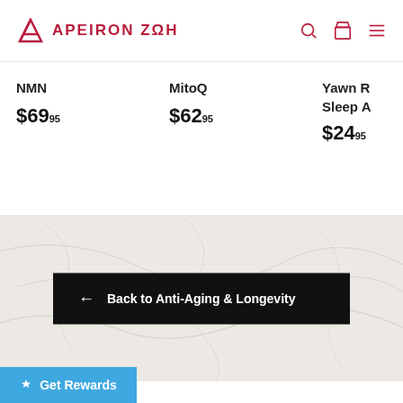APEIRON ZΩH
NMN $69.95
MitoQ $62.95
Yawn R... Sleep A... $24.95
← Back to Anti-Aging & Longevity
Get Rewards